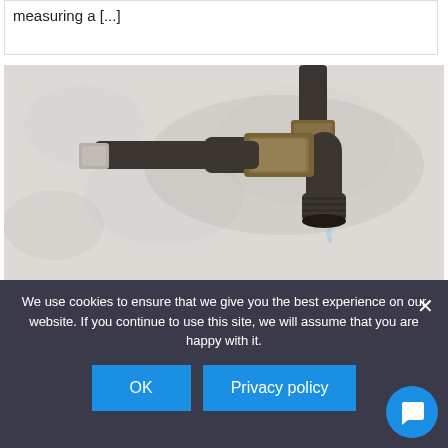measuring a [...]
[Figure (photo): A close-up photo of an old, corroded metal water faucet/tap mounted on a white textured wall, with a small drip of water visible at the spout.]
#INDUSTRY NEWS
We use cookies to ensure that we give you the best experience on our website. If you continue to use this site, we will assume that you are happy with it.